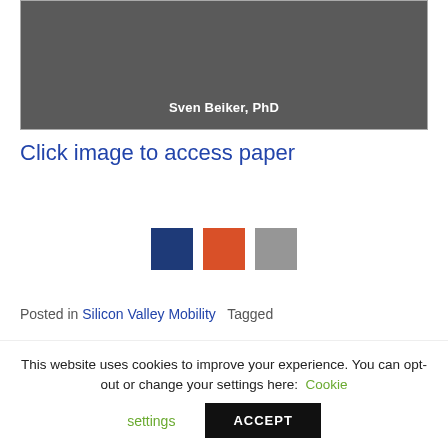[Figure (photo): Dark gray image block with 'Sven Beiker, PhD' text in white at the bottom center]
Click image to access paper
[Figure (infographic): Three colored squares: dark blue, orange, and gray]
Posted in Silicon Valley Mobility   Tagged
This website uses cookies to improve your experience. You can opt-out or change your settings here:   Cookie settings   ACCEPT